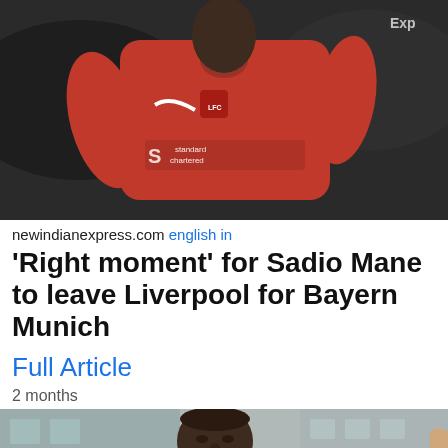[Figure (photo): Sadio Mane in red Liverpool FC kit with Standard Chartered sponsor, running during a match]
newindianexpress.com english in
'Right moment' for Sadio Mane to leave Liverpool for Bayern Munich
Full Article
2 months
[Figure (photo): Sadio Mane in red Bayern Munich training jacket, looking downward, outside a building]